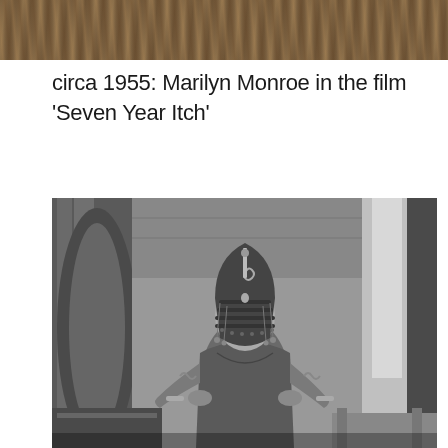[Figure (photo): Partial black and white photograph showing feathered or furred texture, cropped at top of page]
circa 1955: Marilyn Monroe in the film ‘Seven Year Itch’
[Figure (photo): Black and white photograph of a woman dressed as Cleopatra with elaborate Egyptian headdress with beaded decorations and coiled ornament, wearing a form-fitting dress with arm decorations, hands on hips, standing in front of Egyptian-style set with stone columns]